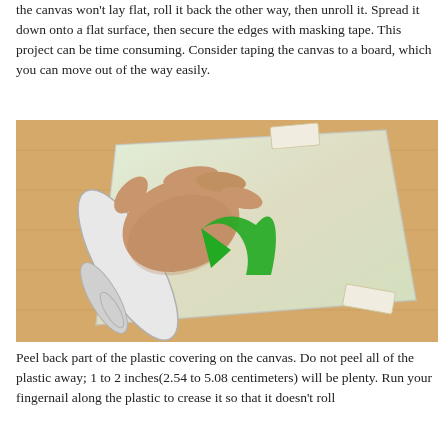the canvas won't lay flat, roll it back the other way, then unroll it. Spread it down onto a flat surface, then secure the edges with masking tape. This project can be time consuming. Consider taping the canvas to a board, which you can move out of the way easily.
[Figure (illustration): Illustration of a hand unrolling a canvas on a wooden surface. The canvas is green-tinted and taped at the corners with masking tape. A large green arrow curves indicating the rolling/unrolling direction.]
Peel back part of the plastic covering on the canvas. Do not peel all of the plastic away; 1 to 2 inches(2.54 to 5.08 centimeters) will be plenty. Run your fingernail along the plastic to crease it so that it doesn't roll